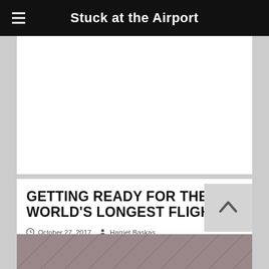Stuck at the Airport
[Figure (other): Advertisement / blank white block]
GETTING READY FOR THE WORLD'S LONGEST FLIGHT
October 27, 2017  Harriet Baskas   Flights   Changi Airport, Singapore, United Airlines, World's Longest Flight
[Figure (photo): Partial photo of an airport interior ceiling visible at bottom of page]